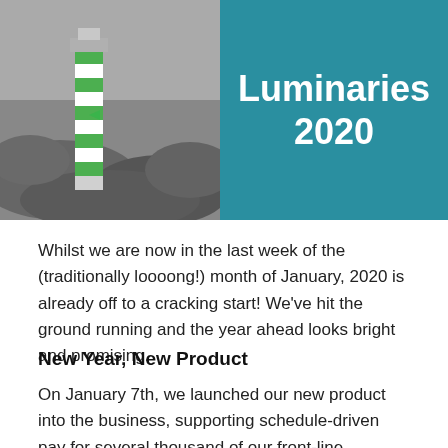[Figure (photo): Header banner split into two halves: left side shows a black-and-white photo of a lighthouse with a green and white striped pattern, surrounded by rocky terrain; right side is a teal/dark cyan background with white bold text reading 'Luminaries 2020'.]
Whilst we are now in the last week of the (traditionally loooong!) month of January, 2020 is already off to a cracking start! We've hit the ground running and the year ahead looks bright and promising.
New Year, New Product
On January 7th, we launched our new product into the business, supporting schedule-driven pay for several thousand of our front-line colleagues. This new process, and associated visual products, allowed